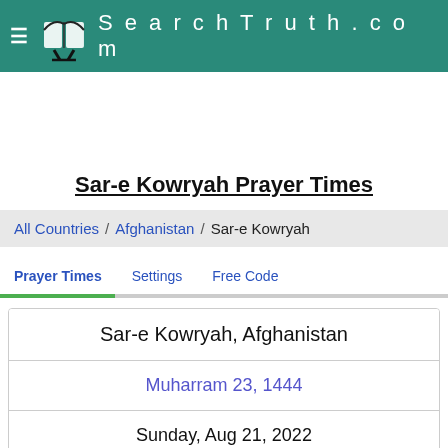SearchTruth.com
Sar-e Kowryah Prayer Times
All Countries / Afghanistan / Sar-e Kowryah
Prayer Times  Settings  Free Code
Sar-e Kowryah, Afghanistan
Muharram 23, 1444
Sunday, Aug 21, 2022